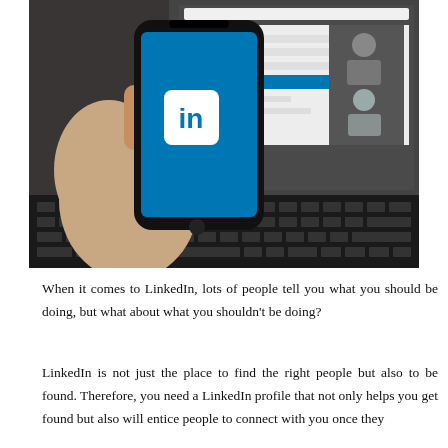[Figure (photo): A hand holding a smartphone displaying the LinkedIn app (blue screen with 'in' logo), overlaid in front of a laptop showing the LinkedIn website with profile/login page visible. The scene appears to be on a desk or table.]
When it comes to LinkedIn, lots of people tell you what you should be doing, but what about what you shouldn't be doing?
LinkedIn is not just the place to find the right people but also to be found. Therefore, you need a LinkedIn profile that not only helps you get found but also will entice people to connect with you once they